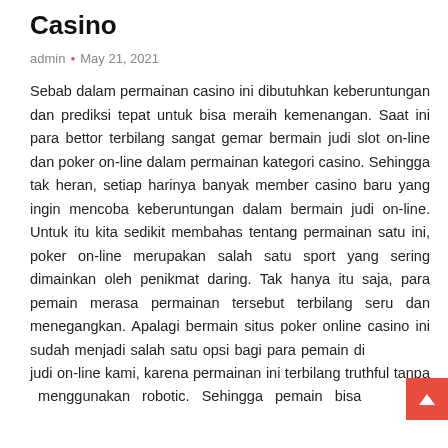Casino
admin • May 21, 2021
Sebab dalam permainan casino ini dibutuhkan keberuntungan dan prediksi tepat untuk bisa meraih kemenangan. Saat ini para bettor terbilang sangat gemar bermain judi slot on-line dan poker on-line dalam permainan kategori casino. Sehingga tak heran, setiap harinya banyak member casino baru yang ingin mencoba keberuntungan dalam bermain judi on-line. Untuk itu kita sedikit membahas tentang permainan satu ini, poker on-line merupakan salah satu sport yang sering dimainkan oleh penikmat daring. Tak hanya itu saja, para pemain merasa permainan tersebut terbilang seru dan menegangkan. Apalagi bermain situs poker online casino ini sudah menjadi salah satu opsi bagi para pemain di judi on-line kami, karena permainan ini terbilang truthful tanpa menggunakan robotic. Sehingga pemain bisa